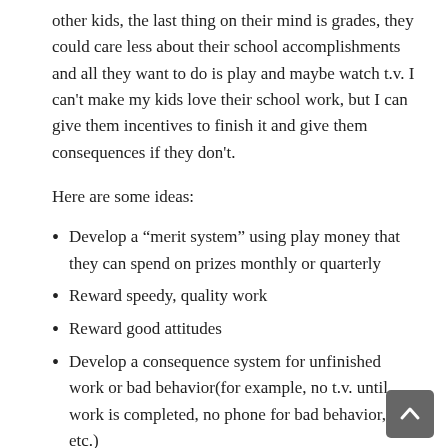other kids, the last thing on their mind is grades, they could care less about their school accomplishments and all they want to do is play and maybe watch t.v. I can't make my kids love their school work, but I can give them incentives to finish it and give them consequences if they don't.
Here are some ideas:
Develop a “merit system” using play money that they can spend on prizes monthly or quarterly
Reward speedy, quality work
Reward good attitudes
Develop a consequence system for unfinished work or bad behavior(for example, no t.v. until work is completed, no phone for bad behavior, etc.)